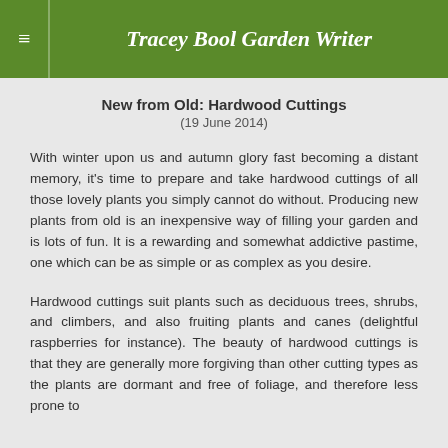Tracey Bool Garden Writer
New from Old: Hardwood Cuttings
(19 June 2014)
With winter upon us and autumn glory fast becoming a distant memory, it's time to prepare and take hardwood cuttings of all those lovely plants you simply cannot do without. Producing new plants from old is an inexpensive way of filling your garden and is lots of fun. It is a rewarding and somewhat addictive pastime, one which can be as simple or as complex as you desire.
Hardwood cuttings suit plants such as deciduous trees, shrubs, and climbers, and also fruiting plants and canes (delightful raspberries for instance). The beauty of hardwood cuttings is that they are generally more forgiving than other cutting types as the plants are dormant and free of foliage, and therefore less prone to